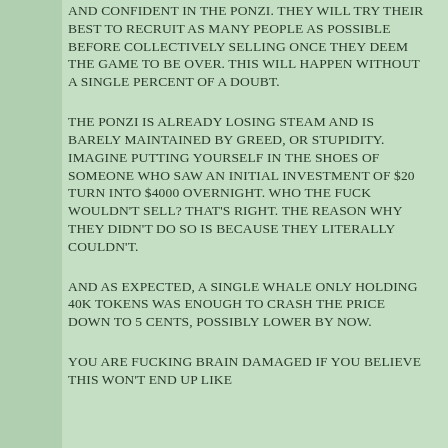AND CONFIDENT IN THE PONZI. THEY WILL TRY THEIR BEST TO RECRUIT AS MANY PEOPLE AS POSSIBLE BEFORE COLLECTIVELY SELLING ONCE THEY DEEM THE GAME TO BE OVER. THIS WILL HAPPEN WITHOUT A SINGLE PERCENT OF A DOUBT.
THE PONZI IS ALREADY LOSING STEAM AND IS BARELY MAINTAINED BY GREED, OR STUPIDITY. IMAGINE PUTTING YOURSELF IN THE SHOES OF SOMEONE WHO SAW AN INITIAL INVESTMENT OF $20 TURN INTO $4000 OVERNIGHT. WHO THE FUCK WOULDN'T SELL? THAT'S RIGHT. THE REASON WHY THEY DIDN'T DO SO IS BECAUSE THEY LITERALLY COULDN'T.
AND AS EXPECTED, A SINGLE WHALE ONLY HOLDING 40K TOKENS WAS ENOUGH TO CRASH THE PRICE DOWN TO 5 CENTS, POSSIBLY LOWER BY NOW.
YOU ARE FUCKING BRAIN DAMAGED IF YOU BELIEVE THIS WON'T END UP LIKE